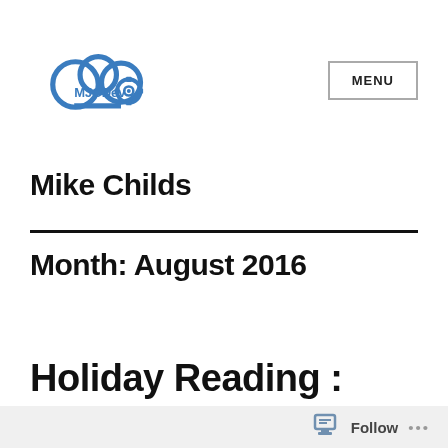[Figure (logo): MJCDev logo with cloud and gear icon in blue]
MENU
Mike Childs
Month: August 2016
Holiday Reading : Cyprus